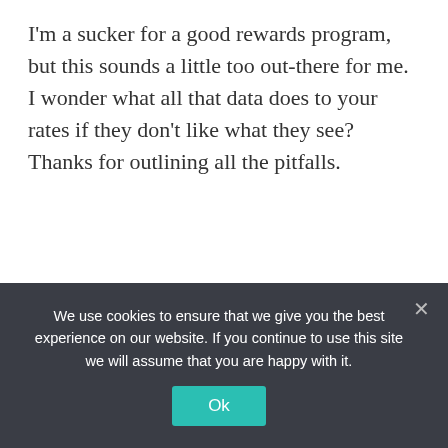I'm a sucker for a good rewards program, but this sounds a little too out-there for me. I wonder what all that data does to your rates if they don't like what they see? Thanks for outlining all the pitfalls.
Reply
[Figure (logo): Greg Johnson avatar: orange and blue globe/plane logo]
Greg Johnson says:
We use cookies to ensure that we give you the best experience on our website. If you continue to use this site we will assume that you are happy with it.
Ok